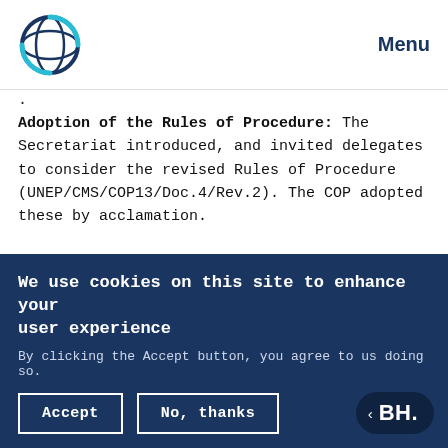Menu
.
Adoption of the Rules of Procedure: The Secretariat introduced, and invited delegates to consider the revised Rules of Procedure (UNEP/CMS/COP13/Doc.4/Rev.2). The COP adopted these by acclamation.
Establishment of the Credentials Committee and other Sessional Committees: The COP elected
We use cookies on this site to enhance your user experience
By clicking the Accept button, you agree to us doing so.
Accept
No, thanks